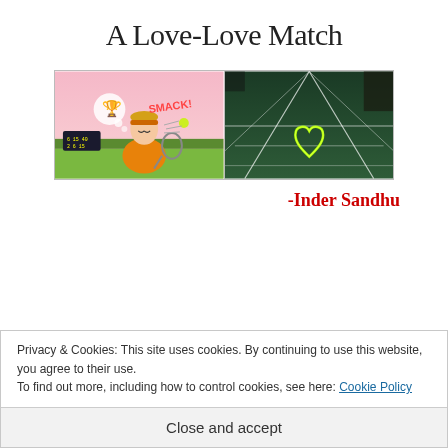A Love-Love Match
[Figure (illustration): Two side-by-side images: left shows a cartoon tennis player with a trophy thought bubble and 'SMACK!' text, right shows a green tennis court viewed from above with a glowing heart shape made of yellow-green light]
-Inder Sandhu
Privacy & Cookies: This site uses cookies. By continuing to use this website, you agree to their use.
To find out more, including how to control cookies, see here: Cookie Policy
Close and accept